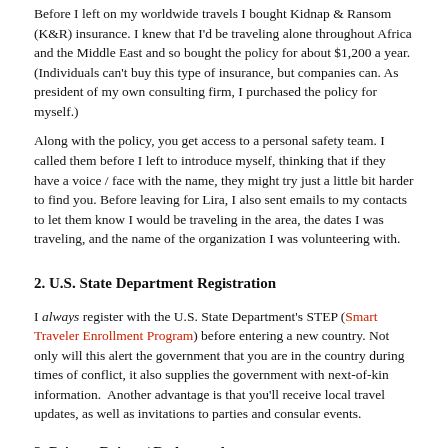Before I left on my worldwide travels I bought Kidnap & Ransom (K&R) insurance. I knew that I'd be traveling alone throughout Africa and the Middle East and so bought the policy for about $1,200 a year. (Individuals can't buy this type of insurance, but companies can. As president of my own consulting firm, I purchased the policy for myself.)
Along with the policy, you get access to a personal safety team. I called them before I left to introduce myself, thinking that if they have a voice / face with the name, they might try just a little bit harder to find you. Before leaving for Lira, I also sent emails to my contacts to let them know I would be traveling in the area, the dates I was traveling, and the name of the organization I was volunteering with.
2. U.S. State Department Registration
I always register with the U.S. State Department's STEP (Smart Traveler Enrollment Program) before entering a new country. Not only will this alert the government that you are in the country during times of conflict, it also supplies the government with next-of-kin information. Another advantage is that you'll receive local travel updates, as well as invitations to parties and consular events.
3. Private Driver / Bodyguard
I decided not to take local buses like I normally do, but instead hired a driver, that could then serve as a sort of bodyguard for me. I wanted someone who spoke the local language, knew the area, and would accompany me into town.